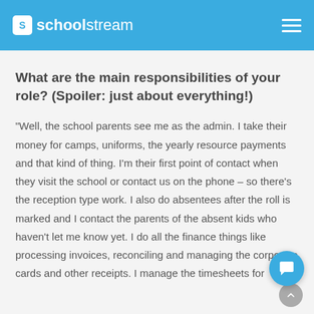schoolstream
What are the main responsibilities of your role? (Spoiler: just about everything!)
“Well, the school parents see me as the admin. I take their money for camps, uniforms, the yearly resource payments and that kind of thing. I’m their first point of contact when they visit the school or contact us on the phone – so there’s the reception type work. I also do absentees after the roll is marked and I contact the parents of the absent kids who haven’t let me know yet. I do all the finance things like processing invoices, reconciling and managing the corporate cards and other receipts. I manage the timesheets for